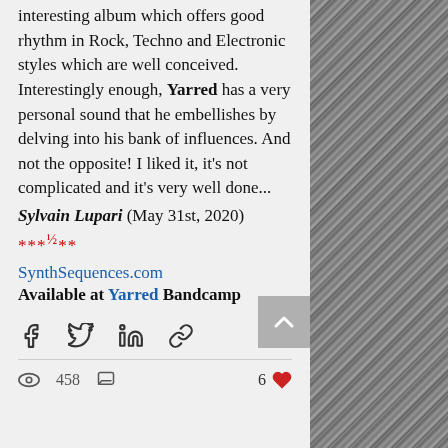interesting album which offers good rhythm in Rock, Techno and Electronic styles which are well conceived. Interestingly enough, Yarred has a very personal sound that he embellishes by delving into his bank of influences. And not the opposite! I liked it, it's not complicated and it's very well done...
Sylvain Lupari (May 31st, 2020)
***½**
SynthSequences.com
Available at Yarred Bandcamp
[Figure (other): Social share icons: Facebook, Twitter, LinkedIn, link]
458 views, comment icon, 6 likes